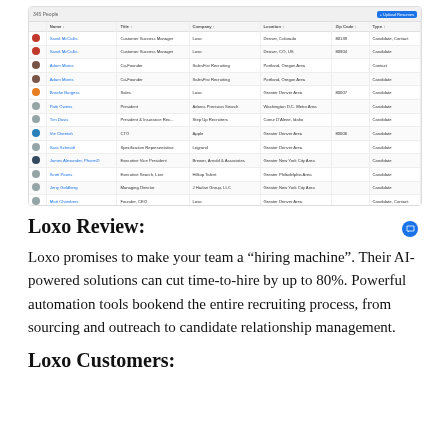[Figure (screenshot): Screenshot of Loxo CRM interface showing a table of contacts/candidates with columns for Name, Title, Company, Location, Zip Code, Type, and action icons. Rows include names like Sandi McCallis, Adam Morris, Brooke Burgess, Patti Owens, Tim Davis, Vie Cheetah, Saro Schmidt, James Alexander PharmD, Scott Paons, Jerry Goldberg, Matt Chambers, Steven Bark, Roxanna Santivo, Roy Borrowing.]
Loxo Review:
Loxo promises to make your team a “hiring machine”. Their AI-powered solutions can cut time-to-hire by up to 80%. Powerful automation tools bookend the entire recruiting process, from sourcing and outreach to candidate relationship management.
Loxo Customers: